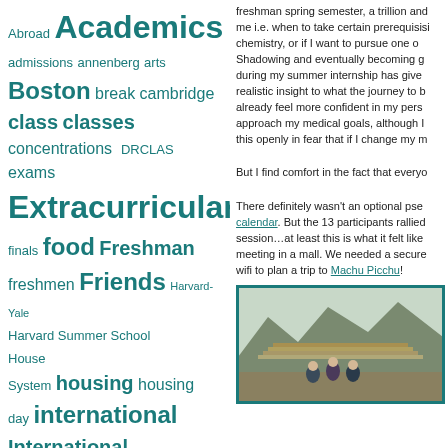[Figure (infographic): Tag cloud of Harvard-related topics in teal/dark cyan color, varying font sizes indicating frequency/importance. Tags include: Abroad, Academics, admissions, annenberg, arts, Boston, break, cambridge, class, classes, concentrations, DRCLAS, exams, Extracurriculars, finals, food, Freshman, freshmen, Friends, Harvard-Yale, Harvard Summer School, House System, housing, housing day, international, International opportunities, iSURF, j-term, Mather, Midterms, music, OCS, Office of Career Services, PBHA, prefrosh, reading period, Senior Year, Shopping Week, Spring Break, student, study]
freshman spring semester, a trillion and me i.e. when to take certain prerequisitis chemistry, or if I want to pursue one o Shadowing and eventually becoming g during my summer internship has give realistic insight to what the journey to b already feel more confident in my pers approach my medical goals, although I this openly in fear that if I change my m
But I find comfort in the fact that everyo
There definitely wasn't an optional pse calendar. But the 13 participants rallied session…at least this is what it felt like meeting in a mall. We needed a secure wifi to plan a trip to Machu Picchu!
[Figure (photo): Photo of people (students) at Machu Picchu ancient ruins, mountains in background. Two or three people visible in foreground.]